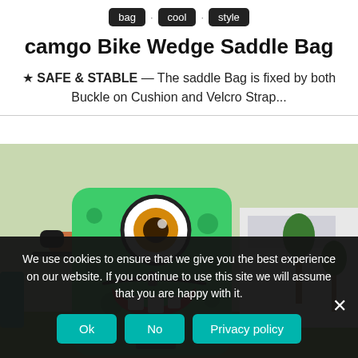bag · cool · style
camgo Bike Wedge Saddle Bag
★ SAFE & STABLE — The saddle Bag is fixed by both Buckle on Cushion and Velcro Strap...
[Figure (photo): Person wearing a green monster-face backpack with a single eye, polka dots, and a smiling mouth with teeth, riding a bicycle outdoors.]
We use cookies to ensure that we give you the best experience on our website. If you continue to use this site we will assume that you are happy with it.